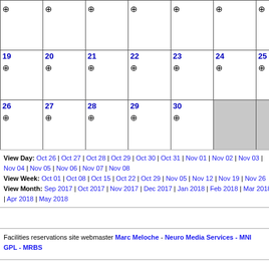| [empty] | [empty] | [empty] | [empty] | [empty] | [empty] | [empty] |
| 19 ✚ | 20 ✚ | 21 ✚ | 22 ✚ | 23 ✚ | 24 ✚ | 25 ✚ |
| 26 ✚ | 27 ✚ | 28 ✚ | 29 ✚ | 30 ✚ | [gray] | [gray] |
View Day: Oct 26 | Oct 27 | Oct 28 | Oct 29 | Oct 30 | Oct 31 | Nov 01 | Nov 02 | Nov 03 | Nov 04 | Nov 05 | Nov 06 | Nov 07 | Nov 08 View Week: Oct 01 | Oct 08 | Oct 15 | Oct 22 | Oct 29 | Nov 05 | Nov 12 | Nov 19 | Nov 26 View Month: Sep 2017 | Oct 2017 | Nov 2017 | Dec 2017 | Jan 2018 | Feb 2018 | Mar 2018 | Apr 2018 | May 2018
Facilities reservations site webmaster Marc Meloche - Neuro Media Services - MNI       GPL - MRBS